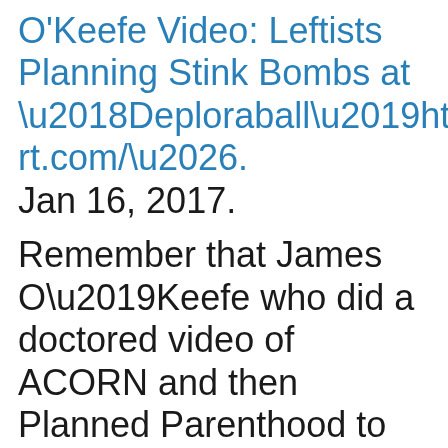O'Keefe Video: Leftists Planning Stink Bombs at 'Deploraball'http://www.breitbart.com/….Jan 16, 2017.
Remember that James O'Keefe who did a doctored video of ACORN and then Planned Parenthood to trump up a case of “fake news.” Well,